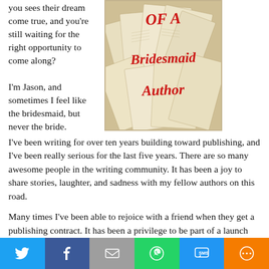you sees their dream come true, and you're still waiting for the right opportunity to come along?
[Figure (illustration): Book cover image with text 'OF A BRIDESMAID AUTHOR' in red handwritten style over a background of open books]
I'm Jason, and sometimes I feel like the bridesmaid, but never the bride. I've been writing for over ten years building toward publishing, and I've been really serious for the last five years. There are so many awesome people in the writing community. It has been a joy to share stories, laughter, and sadness with my fellow authors on this road.
Many times I've been able to rejoice with a friend when they get a publishing contract. It has been a privilege to be part of a launch team for others when they release their books. I've seen a lot of dreams happen during this time.
But a thought dogs me at times. Like a stalker at night, it sneaks around and waits for the moment to strike. It hits when I'm vulnerable. Maybe I'm tired
[Figure (infographic): Social sharing bar with Twitter, Facebook, Email, WhatsApp, SMS, and More buttons]